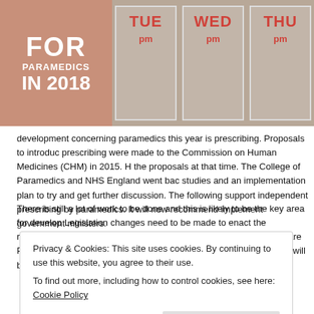[Figure (photo): Banner image showing a pill organizer with days of the week (TUE, WED, THU) labeled in red, showing 'pm' compartments. Left side has a salmon/terracotta block with text 'FOR PARAMEDICS IN 2018' in white.]
development concerning paramedics this year is prescribing. Proposals to introduce prescribing were made to the Commission on Human Medicines (CHM) in 2015. However the proposals at that time. The College of Paramedics and NHS England went back studies and an implementation plan to try and get further discussion. The following support independent prescribing by paramedics. It will now recommend implement government ministers.
There is still a lot of work to be done and this is likely to be the key area for develop Legislation changes need to be made to enact the recommendation. Universities w programmes and the Health and Care Professions Council (HCPC) will need to up While it is unlikely there will be any paramedic prescribers until 2019 at the earliest
Privacy & Cookies: This site uses cookies. By continuing to use this website, you agree to their use.
To find out more, including how to control cookies, see here: Cookie Policy
Close and accept